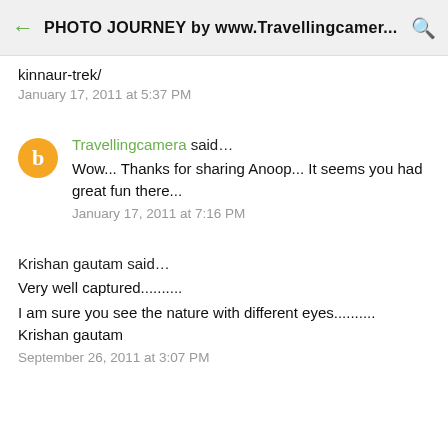PHOTO JOURNEY by www.Travellingcamer...
kinnaur-trek/
January 17, 2011 at 5:37 PM
Travellingcamera said...
Wow... Thanks for sharing Anoop... It seems you had great fun there...
January 17, 2011 at 7:16 PM
Krishan gautam said...
Very well captured.........
I am sure you see the nature with different eyes..........
Krishan gautam
September 26, 2011 at 3:07 PM